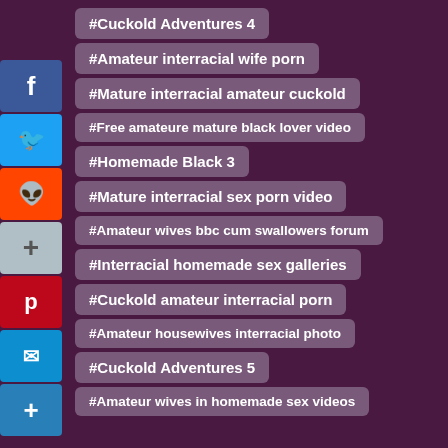#Cuckold Adventures 4
#Amateur interracial wife porn
#Mature interracial amateur cuckold
#Free amateure mature black lover video
#Homemade Black 3
#Mature interracial sex porn video
#Amateur wives bbc cum swallowers forum
#Interracial homemade sex galleries
#Cuckold amateur interracial porn
#Amateur housewives interracial photo
#Cuckold Adventures 5
#Amateur wives in homemade sex videos